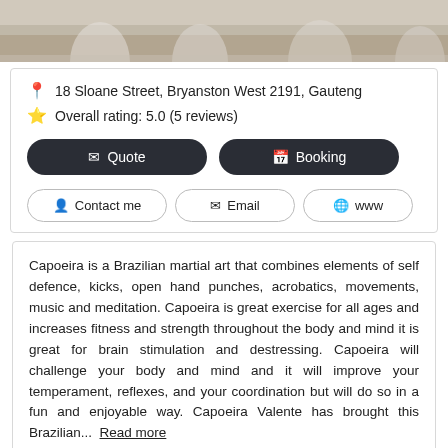[Figure (photo): Partial photo of capoeira practitioners in white uniforms on a gym floor, cropped at the top]
📍 18 Sloane Street, Bryanston West 2191, Gauteng
⭐ Overall rating: 5.0 (5 reviews)
✉ Quote
📅 Booking
👤 Contact me
✉ Email
🌐 www
Capoeira is a Brazilian martial art that combines elements of self defence, kicks, open hand punches, acrobatics, movements, music and meditation. Capoeira is great exercise for all ages and increases fitness and strength throughout the body and mind it is great for brain stimulation and destressing. Capoeira will challenge your body and mind and it will improve your temperament, reflexes, and your coordination but will do so in a fun and enjoyable way. Capoeira Valente has brought this Brazilian...  Read more
KEN TO FUDE NO RYU KENSHU KAI